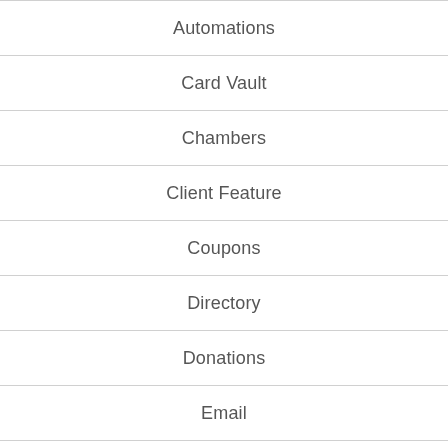Automations
Card Vault
Chambers
Client Feature
Coupons
Directory
Donations
Email